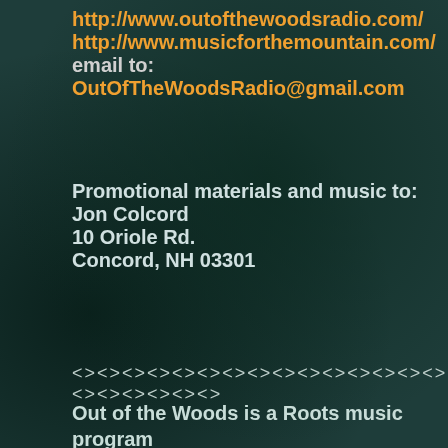http://www.outofthewoodsradio.com/
http://www.musicforthemountain.com/
email to: OutOfTheWoodsRadio@gmail.com
Promotional materials and music to:
Jon Colcord
10 Oriole Rd.
Concord, NH 03301
<><><><><><><><><><><><><><><><><><><>
Out of the Woods is a Roots music program for the Mountain Bluegrass is a Bluegrass m program. Both are produced weekly in Conc Hampshire. One, or both can be heard globa